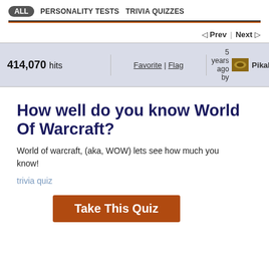ALL  PERSONALITY TESTS  TRIVIA QUIZZES
Prev | Next
| hits | Favorite | Flag | 5 years ago by PikaBoo |
| --- | --- | --- |
| 414,070 hits | Favorite | Flag | 5 years ago by PikaBoo |
How well do you know World Of Warcraft?
World of warcraft, (aka, WOW) lets see how much you know!
trivia quiz
Take This Quiz